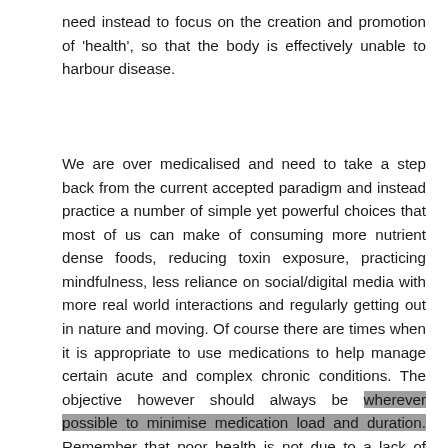need instead to focus on the creation and promotion of 'health', so that the body is effectively unable to harbour disease.
We are over medicalised and need to take a step back from the current accepted paradigm and instead practice a number of simple yet powerful choices that most of us can make of consuming more nutrient dense foods, reducing toxin exposure, practicing mindfulness, less reliance on social/digital media with more real world interactions and regularly getting out in nature and moving. Of course there are times when it is appropriate to use medications to help manage certain acute and complex chronic conditions. The objective however should always be wherever possible to minimise medication load and duration. Remember that poor health is not due to a lack of medications. Wishing you a very happy and healthy